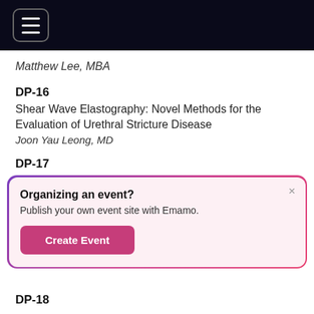[Navigation menu bar with hamburger icon]
Matthew Lee, MBA
DP-16
Shear Wave Elastography: Novel Methods for the Evaluation of Urethral Stricture Disease
Joon Yau Leong, MD
DP-17
Utilizing da Vinci ® Robotic Surgical System to tr...
[Figure (other): Popup dialog box: 'Organizing an event? Publish your own event site with Emamo. [Create Event button]']
DP-18